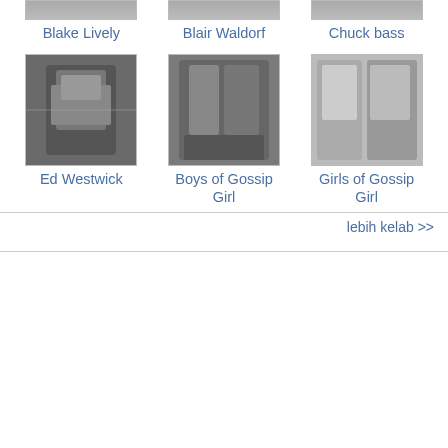[Figure (photo): Partial thumbnail strip at top for Blake Lively]
Blake Lively
[Figure (photo): Partial thumbnail strip at top for Blair Waldorf]
Blair Waldorf
[Figure (photo): Partial thumbnail strip at top for Chuck bass]
Chuck bass
[Figure (photo): Photo thumbnail of Ed Westwick]
Ed Westwick
[Figure (photo): Photo thumbnail of Boys of Gossip Girl]
Boys of Gossip Girl
[Figure (photo): Photo thumbnail of Girls of Gossip Girl]
Girls of Gossip Girl
lebih kelab >>